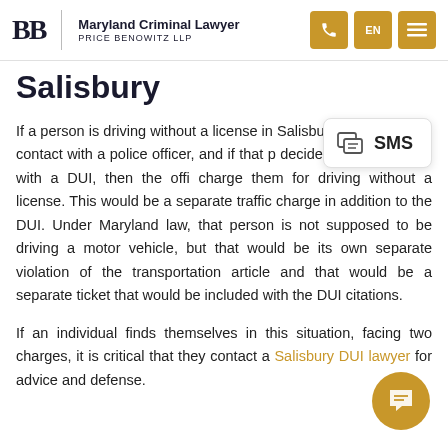Maryland Criminal Lawyer | Price Benowitz LLP
Salisbury
If a person is driving without a license in Salisbury and they have contact with a police officer, and if that p... decides to charge them with a DUI, then the offi... charge them for driving without a license. This would be a separate traffic charge in addition to the DUI. Under Maryland law, that person is not supposed to be driving a motor vehicle, but that would be its own separate violation of the transportation article and that would be a separate ticket that would be included with the DUI citations.
If an individual finds themselves in this situation, facing two charges, it is critical that they contact a Salisbury DUI lawyer for advice and defense.